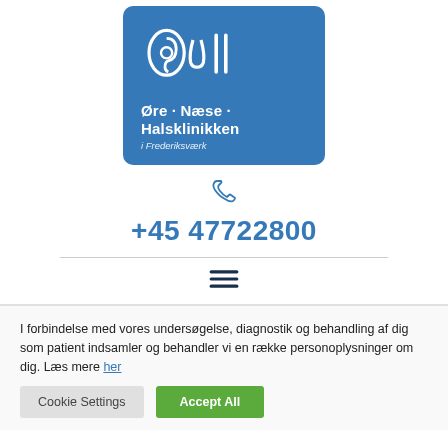[Figure (logo): Øre Næse Halsklinikken i Frederiksværk logo — blue rounded rectangle with ear/nose/throat icon and clinic name in white]
+45 47722800
I forbindelse med vores undersøgelse, diagnostik og behandling af dig som patient indsamler og behandler vi en række personoplysninger om dig. Læs mere her
Cookie Settings
Accept All